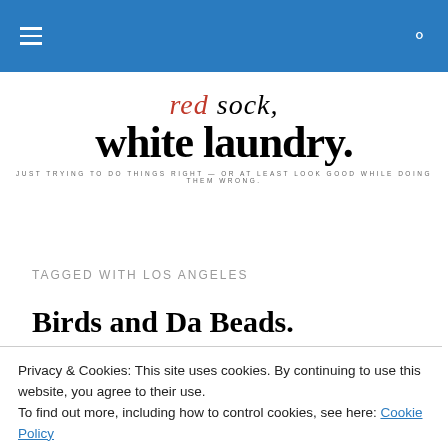Navigation bar with hamburger menu and search icon
red sock, white laundry. JUST TRYING TO DO THINGS RIGHT — OR AT LEAST LOOK GOOD WHILE DOING THEM WRONG.
TAGGED WITH LOS ANGELES
Birds and Da Beads.
Privacy & Cookies: This site uses cookies. By continuing to use this website, you agree to their use. To find out more, including how to control cookies, see here: Cookie Policy
Close and accept